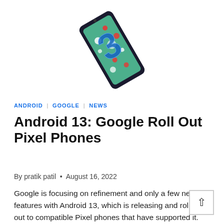[Figure (illustration): A smartphone shown tilted diagonally displaying Android 13 colorful wallpaper with the number 3 in blue on a green background with colorful dots]
ANDROID | GOOGLE | NEWS
Android 13: Google Roll Out Pixel Phones
By pratik patil • August 16, 2022
Google is focusing on refinement and only a few new features with Android 13, which is releasing and rolling out to compatible Pixel phones that have supported it.